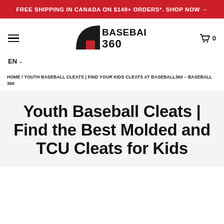FREE SHIPPING IN CANADA ON $149+ ORDERS*. SHOP NOW →
[Figure (logo): Baseball 360 logo with curved shape and red square accent]
EN ∨
HOME / YOUTH BASEBALL CLEATS | FIND YOUR KIDS CLEATS AT BASEBALL360 – BASEBALL 360
Youth Baseball Cleats | Find the Best Molded and TCU Cleats for Kids